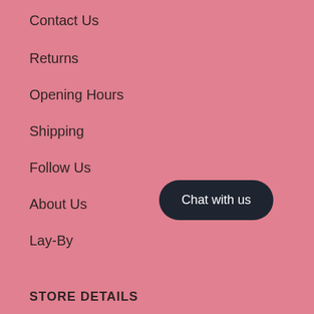Contact Us
Returns
Opening Hours
Shipping
Follow Us
About Us
Lay-By
[Figure (other): Chat with us button — dark rounded pill button]
STORE DETAILS